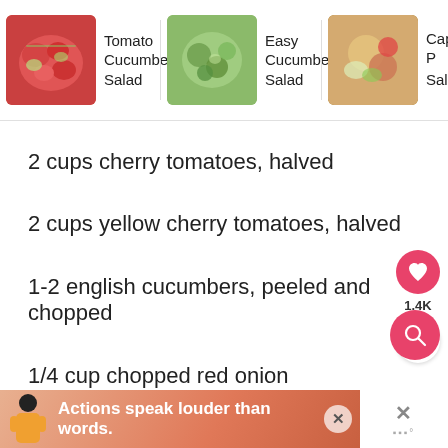[Figure (photo): Recipe carousel showing Tomato Cucumber Salad, Easy Cucumber Salad, and Caprese Salad thumbnails]
2 cups cherry tomatoes, halved
2 cups yellow cherry tomatoes, halved
1-2 english cucumbers, peeled and chopped
1/4 cup chopped red onion
4 oz feta cheese crumbles
1 Tbsp red wine vinegar
[Figure (screenshot): Advertisement banner: Actions speak louder than words.]